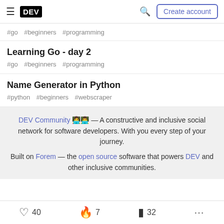DEV — Create account
#go #beginners #programming
Learning Go - day 2
#go #beginners #programming
Name Generator in Python
#python #beginners #webscraper
DEV Community 👩‍💻👨‍💻 — A constructive and inclusive social network for software developers. With you every step of your journey.
Built on Forem — the open source software that powers DEV and other inclusive communities.
40  7  32  ...